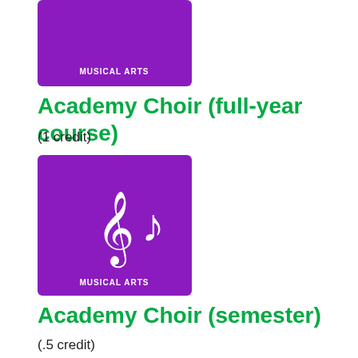[Figure (illustration): Purple square tile with 'MUSICAL ARTS' label at bottom, partially visible at top of page]
Academy Choir (full-year course)
(1 credit)
[Figure (illustration): Purple square tile with treble clef and music note icons, 'MUSICAL ARTS' label at bottom]
Academy Choir (semester)
(.5 credit)
[Figure (illustration): Blue square tile with grid/spreadsheet icon, partially visible at bottom of page]